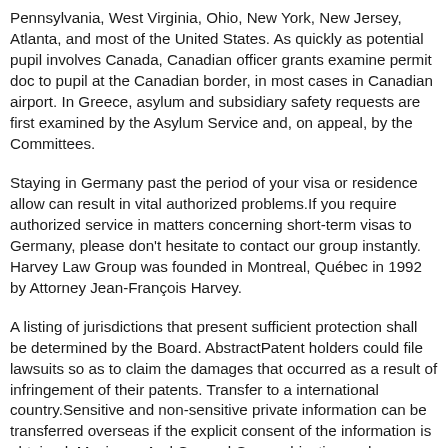Pennsylvania, West Virginia, Ohio, New York, New Jersey, Atlanta, and most of the United States. As quickly as potential pupil involves Canada, Canadian officer grants examine permit doc to pupil at the Canadian border, in most cases in Canadian airport. In Greece, asylum and subsidiary safety requests are first examined by the Asylum Service and, on appeal, by the Committees.
Staying in Germany past the period of your visa or residence allow can result in vital authorized problems.If you require authorized service in matters concerning short-term visas to Germany, please don't hesitate to contact our group instantly. Harvey Law Group was founded in Montreal, Québec in 1992 by Attorney Jean-François Harvey.
A listing of jurisdictions that present sufficient protection shall be determined by the Board. AbstractPatent holders could file lawsuits so as to claim the damages that occurred as a result of infringement of their patents. Transfer to a international country.Sensitive and non-sensitive private information can be transferred overseas if the explicit consent of the information is obtained. Maximum And General Group obiective and